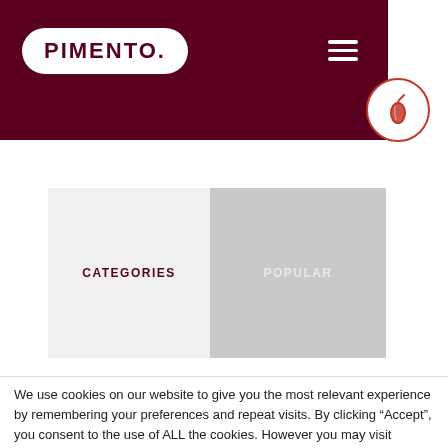PIMENTO.
[Figure (logo): Pimento logo: white pill/rounded rectangle with dark red text 'PIMENTO.' and a hamburger menu icon on the right, on a dark red background. A chili pepper icon in a circle overlaps the right edge.]
CATEGORIES
POPULAR
We use cookies on our website to give you the most relevant experience by remembering your preferences and repeat visits. By clicking “Accept”, you consent to the use of ALL the cookies. However you may visit Cookie Settings to provide a controlled